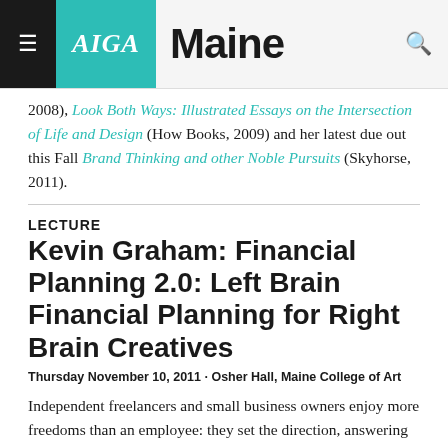AIGA Maine
2008), Look Both Ways: Illustrated Essays on the Intersection of Life and Design (How Books, 2009) and her latest due out this Fall Brand Thinking and other Noble Pursuits (Skyhorse, 2011).
LECTURE
Kevin Graham: Financial Planning 2.0: Left Brain Financial Planning for Right Brain Creatives
Thursday November 10, 2011 · Osher Hall, Maine College of Art
Independent freelancers and small business owners enjoy more freedoms than an employee: they set the direction, answering only to themselves. They are the captains of their ship. But, with these freedoms come enormous responsibilities and challenges: getting new clients; taking care of your own benefits (retirement